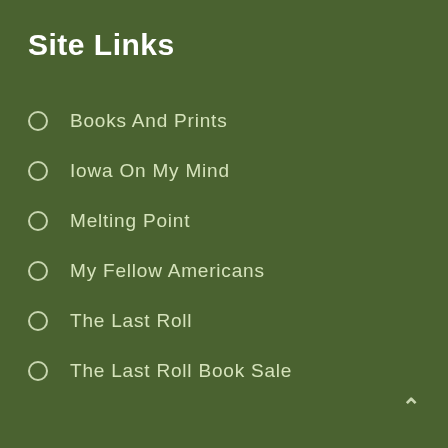Site Links
Books And Prints
Iowa On My Mind
Melting Point
My Fellow Americans
The Last Roll
The Last Roll Book Sale
^